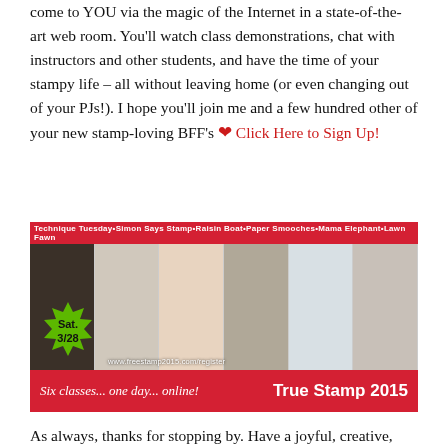come to YOU via the magic of the Internet in a state-of-the-art web room. You'll watch class demonstrations, chat with instructors and other students, and have the time of your stampy life – all without leaving home (or even changing out of your PJs!). I hope you'll join me and a few hundred other of your new stamp-loving BFF's ❤ Click Here to Sign Up!
[Figure (photo): True Stamp 2015 promotional banner. Top bar reads: 'Technique Tuesday • Simon Says Stamp • Raisin Boat • Paper Smooches • Mama Elephant • Lawn Fawn'. Photo collage of stamping supplies and cards. Green starburst badge: 'Sat. 3/28'. URL: www.freestamp2015.com/register. Bottom red bar: 'Six classes... one day... online! True Stamp 2015'.]
As always, thanks for stopping by. Have a joyful, creative,